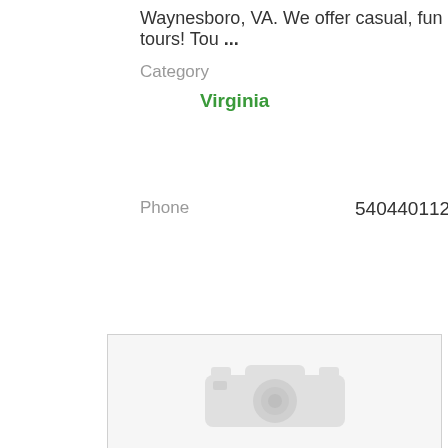Waynesboro, VA. We offer casual, fun tours! Tou ...
Category
Virginia
Phone   5404401129
[Figure (photo): Placeholder image with a camera icon indicating no photo is available]